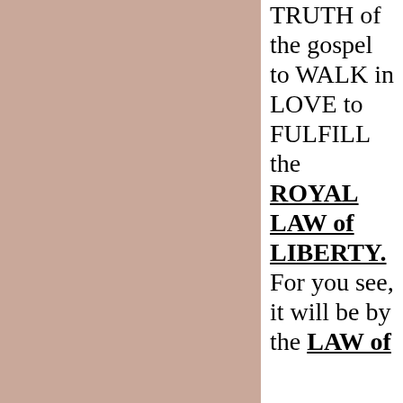TRUTH of the gospel to WALK in LOVE to FULFILL the ROYAL LAW of LIBERTY. For you see, it will be by the LAW of